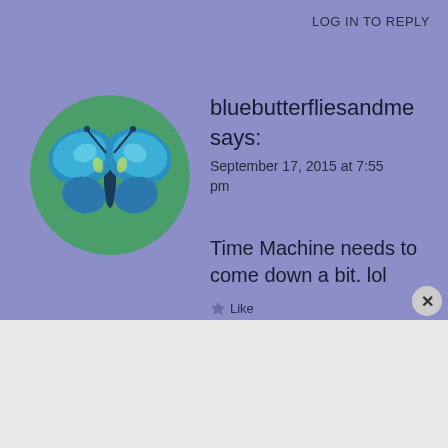LOG IN TO REPLY
bluebutterfliesandme says:
September 17, 2015 at 7:55 pm
[Figure (illustration): Circular avatar image of a blue butterfly painting with teal and green colors on a green background]
Time Machine needs to come down a bit. lol
Advertisements
[Figure (screenshot): DuckDuckGo advertisement banner: orange background with white text 'Search, browse, and email with more privacy.' and 'All in One Free App' button, with a phone showing DuckDuckGo app on the right]